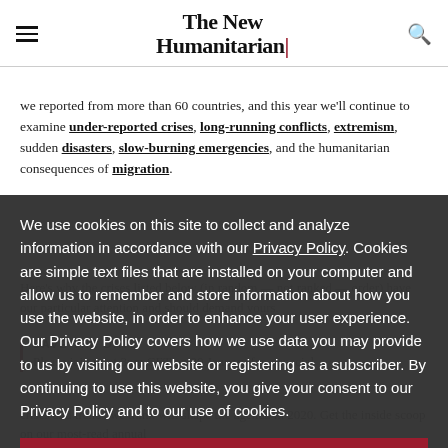The New Humanitarian
we reported from more than 60 countries, and this year we'll continue to examine under-reported crises, long-running conflicts, extremism, sudden disasters, slow-burning emergencies, and the humanitarian consequences of migration.
Here's why the crises listed below (in random — not ranked — order) have our particular attention and should demand yours.
We use cookies on this site to collect and analyze information in accordance with our Privacy Policy. Cookies are simple text files that are installed on your computer and allow us to remember and store information about how you use the website, in order to enhance your user experience. Our Privacy Policy covers how we use data you may provide to us by visiting our website or registering as a subscriber. By continuing to use this website, you give your consent to our Privacy Policy and to our use of cookies.
OK, I agree
SAVE THE DATE
Please join us at 3pm CET on 20 January for a special
crises and trends we think will shape the agenda in 2020. Get the inside scoop on our most-read annual